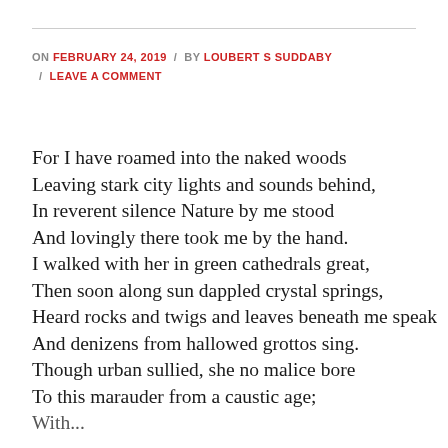ON FEBRUARY 24, 2019 / BY LOUBERT S SUDDABY / LEAVE A COMMENT
For I have roamed into the naked woods
Leaving stark city lights and sounds behind,
In reverent silence Nature by me stood
And lovingly there took me by the hand.
I walked with her in green cathedrals great,
Then soon along sun dappled crystal springs,
Heard rocks and twigs and leaves beneath me speak
And denizens from hallowed grottos sing.
Though urban sullied, she no malice bore
To this marauder from a caustic age;
With...